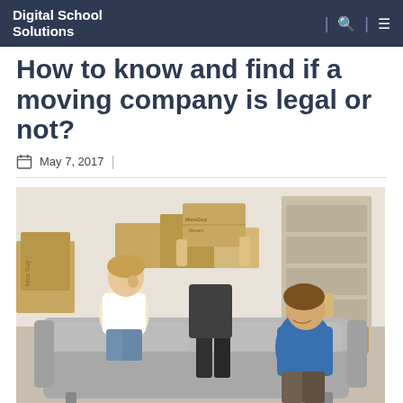Digital School Solutions
How to know and find if a moving company is legal or not?
May 7, 2017
[Figure (photo): Three movers carrying and moving a grey sofa in a room surrounded by cardboard moving boxes. One mover in a white shirt, one in dark pants carrying a box overhead, one in a blue shirt smiling at camera. Boxes are branded 'Nice Guy Movers'.]